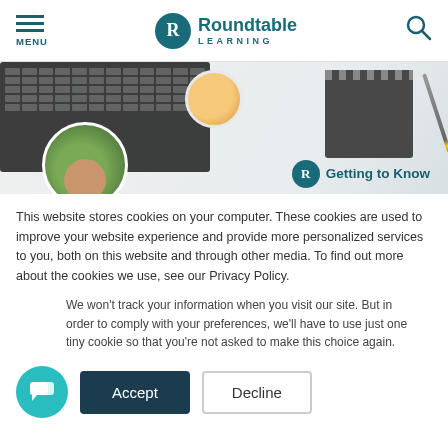MENU | Roundtable LEARNING
[Figure (photo): Hero image showing a keyboard, coffee cup, spiral notebook, pencil, and a circular portrait of a woman with curly hair. Text overlay reads 'Getting to Know' with Roundtable Learning logo badge.]
This website stores cookies on your computer. These cookies are used to improve your website experience and provide more personalized services to you, both on this website and through other media. To find out more about the cookies we use, see our Privacy Policy.
We won't track your information when you visit our site. But in order to comply with your preferences, we'll have to use just one tiny cookie so that you're not asked to make this choice again.